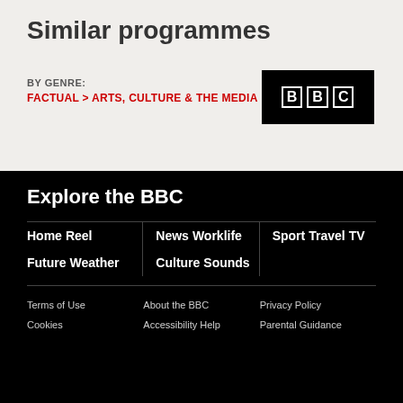Similar programmes
BY GENRE: FACTUAL > ARTS, CULTURE & THE MEDIA
[Figure (logo): BBC logo — black rectangle with BBC lettering in white outlined boxes]
Explore the BBC
Home
News
Sport
Reel
Worklife
Travel
Future
Culture
TV
Weather
Sounds
Terms of Use  About the BBC  Privacy Policy  Cookies  Accessibility Help  Parental Guidance